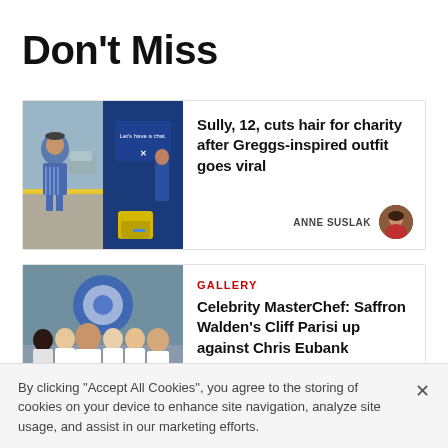Don't Miss
[Figure (photo): Two-panel image: left shows a child in a blue striped outfit on a street; right shows a blue interior with signage]
Sully, 12, cuts hair for charity after Greggs-inspired outfit goes viral
ANNE SUSLAK
[Figure (photo): Group of people in aprons on a cooking show set]
GALLERY
Celebrity MasterChef: Saffron Walden's Cliff Parisi up against Chris Eubank
By clicking "Accept All Cookies", you agree to the storing of cookies on your device to enhance site navigation, analyze site usage, and assist in our marketing efforts.